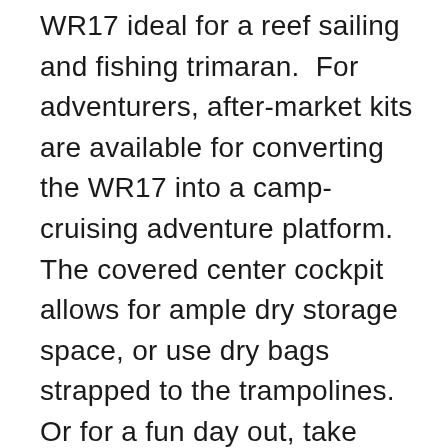WR17 ideal for a reef sailing and fishing trimaran.  For adventurers, after-market kits are available for converting the WR17 into a camp-cruising adventure platform. The covered center cockpit allows for ample dry storage space, or use dry bags strapped to the trampolines.  Or for a fun day out, take along an anchor, furl